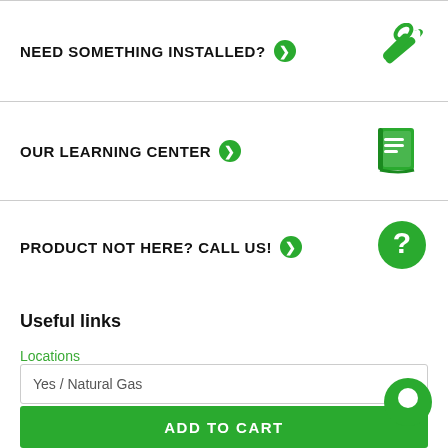NEED SOMETHING INSTALLED? →
OUR LEARNING CENTER →
PRODUCT NOT HERE? CALL US! →
Useful links
Locations
About us
Yes / Natural Gas
ADD TO CART